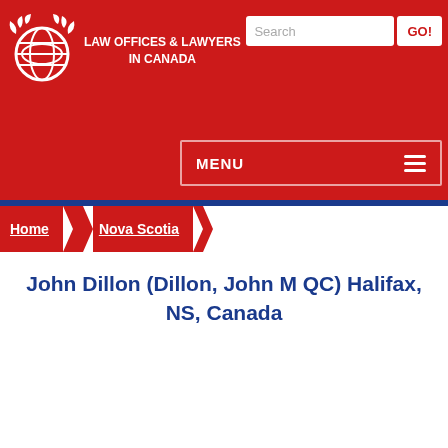[Figure (logo): Globe with decorative leaves logo for Law Offices & Lawyers in Canada website]
LAW OFFICES & LAWYERS IN CANADA
Search GO!
MENU
Home > Nova Scotia
John Dillon (Dillon, John M QC) Halifax, NS, Canada